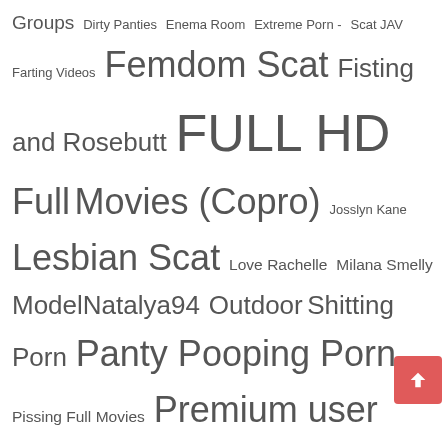Groups Dirty Panties Enema Room Extreme Porn - Scat JAV Farting Videos Femdom Scat Fisting and Rosebutt FULL HD Full Movies (Copro) Josslyn Kane Lesbian Scat Love Rachelle Milana Smelly ModelNatalya94 Outdoor Shitting Porn Panty Pooping Porn Pissing Full Movies Premium user request Samantha Starfish Scat/Piss - BREAKING NEWS Scat and Piss Bestsellers Scatdesire Scat Food Play SCAT JAV CENSORED Scat Solo Shitting indoor Shitting Males Solo Girls Super Heroes Shit, Piss Vomit Sweet Betty Parlour TheFartBabes Toilet Fetish Sex Toys, Fisting & Rosebutt Uncensored Vomit Porn Watersports (pee, pissing golden rain)